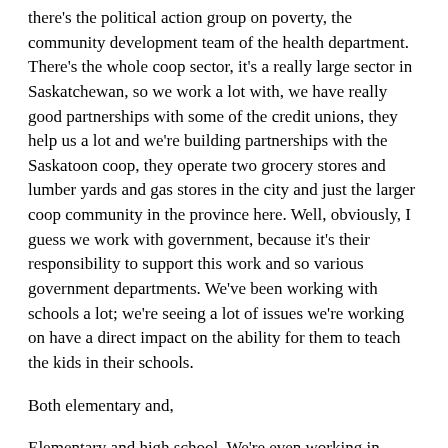there's the political action group on poverty, the community development team of the health department. There's the whole coop sector, it's a really large sector in Saskatchewan, so we work a lot with, we have really good partnerships with some of the credit unions, they help us a lot and we're building partnerships with the Saskatoon coop, they operate two grocery stores and lumber yards and gas stores in the city and just the larger coop community in the province here. Well, obviously, I guess we work with government, because it's their responsibility to support this work and so various government departments. We've been working with schools a lot; we're seeing a lot of issues we're working on have a direct impact on the ability for them to teach the kids in their schools.
Both elementary and,
Elementary and high school. We're even working in direct partnerships with some schools right now on issues on housing for young student mothers. So a couple of the schools are actually invited on, sitting on advisory boards around some of this stuff and taking a very active role in the whole housing question with us. So we've got a really diverse group of partnerships and it's actually, you know, right now there seems to be just a general shift in thinking. It's very much turning towards supporting this kind of work in the city and I guess even now, I mean, working on the Saskatoon housing issues and partnerships, and we're even